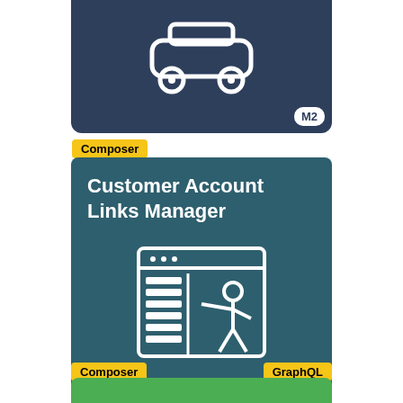[Figure (illustration): Partial top card with dark navy background showing a car icon and M2 badge in bottom right corner]
Composer
[Figure (illustration): Main product card with dark teal background showing 'Customer Account Links Manager' title and a presentation/dashboard icon with a person standing at a screen]
Composer
GraphQL
[Figure (illustration): Partial bottom green card, partially visible]